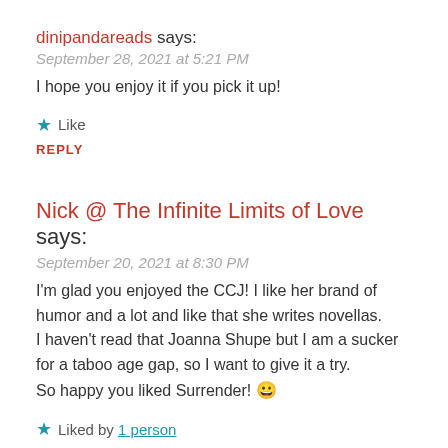dinipandareads says:
September 28, 2021 at 5:21 PM
I hope you enjoy it if you pick it up!
★ Like
REPLY
Nick @ The Infinite Limits of Love says:
September 20, 2021 at 8:30 PM
I'm glad you enjoyed the CCJ! I like her brand of humor and a lot and like that she writes novellas.
I haven't read that Joanna Shupe but I am a sucker for a taboo age gap, so I want to give it a try.
So happy you liked Surrender! 😀
★ Liked by 1 person
REPLY